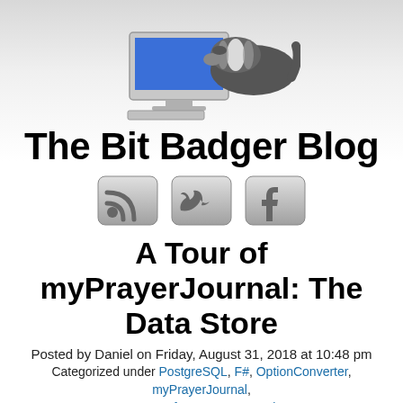[Figure (illustration): Badger using a computer monitor with blue screen, logo image for The Bit Badger Blog]
The Bit Badger Blog
[Figure (illustration): Three social media icon buttons: RSS feed, Twitter bird, Facebook f]
A Tour of myPrayerJournal: The Data Store
Posted by Daniel on Friday, August 31, 2018 at 10:48 pm
Categorized under PostgreSQL, F#, OptionConverter, myPrayerJournal, A Tour of myPrayerJournal
NOTES: